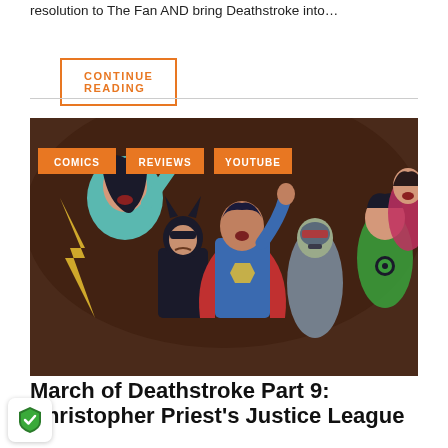resolution to The Fan AND bring Deathstroke into…
CONTINUE READING
[Figure (illustration): Comic book artwork showing Justice League characters including Wonder Woman, Batman, Superman, Cyborg, and Green Lantern in an angry/confrontational pose against a dark background. Tags overlay the image reading COMICS, REVIEWS, YOUTUBE.]
March of Deathstroke Part 9: Christopher Priest's Justice League